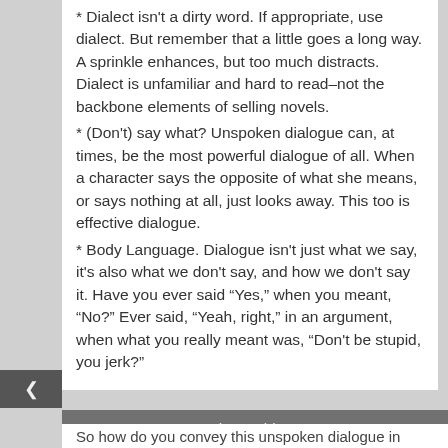* Dialect isn't a dirty word. If appropriate, use dialect. But remember that a little goes a long way. A sprinkle enhances, but too much distracts. Dialect is unfamiliar and hard to read–not the backbone elements of selling novels.
* (Don't) say what? Unspoken dialogue can, at times, be the most powerful dialogue of all. When a character says the opposite of what she means, or says nothing at all, just looks away. This too is effective dialogue.
* Body Language. Dialogue isn't just what we say, it's also what we don't say, and how we don't say it. Have you ever said “Yes,” when you meant, “No?” Ever said, “Yeah, right,” in an argument, when what you really meant was, “Don't be stupid, you jerk?”
Call it sarcasm, or white lies. Call it unspoken dialogue. Or call it body language.
Share This ⌄
So how do you convey this unspoken dialogue in